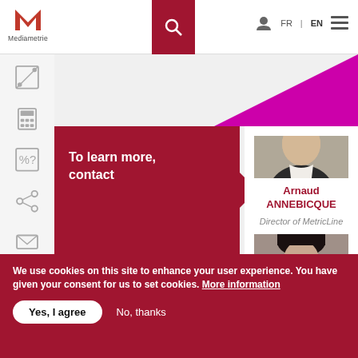[Figure (logo): Mediametrie logo with red M icon and text 'Mediametrie' below]
[Figure (screenshot): Website navigation bar with search icon (red box), user icon, FR|EN language toggle, and hamburger menu]
[Figure (infographic): Left sidebar with icons: cut/image, calculator, percent/question, share, envelope]
[Figure (illustration): Magenta/purple triangular shape in upper right of content area]
To learn more, contact
[Figure (photo): Professional headshot photo of Arnaud ANNEBICQUE, a man in a dark jacket]
Arnaud ANNEBICQUE
Director of MetricLine
[Figure (photo): Partial headshot of a second person with dark hair, cropped at bottom]
We use cookies on this site to enhance your user experience. You have given your consent for us to set cookies. More information
Yes, I agree
No, thanks